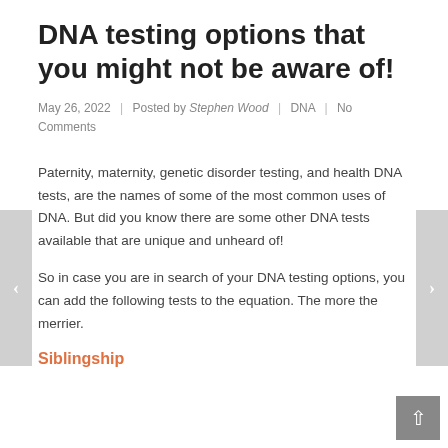DNA testing options that you might not be aware of!
May 26, 2022  |  Posted by Stephen Wood  |  DNA  |  No Comments
Paternity, maternity, genetic disorder testing, and health DNA tests, are the names of some of the most common uses of DNA. But did you know there are some other DNA tests available that are unique and unheard of!
So in case you are in search of your DNA testing options, you can add the following tests to the equation. The more the merrier.
Siblingship